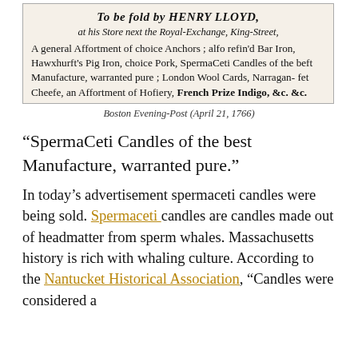[Figure (photo): Scanned newspaper advertisement image showing text about Henry Lloyd selling goods at his store next the Royal-Exchange, King-Street, including Anchors, Bar Iron, Pig Iron, Pork, SpermaCeti Candles, London Wool Cards, Narragansett Cheese, Hosiery, French Prize Indigo, etc. Caption reads: Boston Evening-Post (April 21, 1766)]
Boston Evening-Post (April 21, 1766)
“SpermaCeti Candles of the best Manufacture, warranted pure.”
In today’s advertisement spermaceti candles were being sold. Spermaceti candles are candles made out of headmatter from sperm whales. Massachusetts history is rich with whaling culture. According to the Nantucket Historical Association, “Candles were considered a